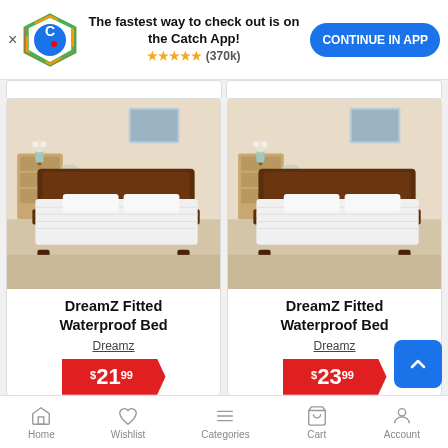The fastest way to check out is on the Catch App! ★★★★★ (370k) CONTINUE IN APP
[Figure (photo): DreamZ Fitted Waterproof Bed product photo - bed with white mattress protector in bedroom setting]
DreamZ Fitted Waterproof Bed
Dreamz
$21.99
[Figure (photo): DreamZ Fitted Waterproof Bed product photo - bed with white mattress protector in bedroom setting]
DreamZ Fitted Waterproof Bed
Dreamz
$23.99
Home  Wishlist  Categories  Cart  Account